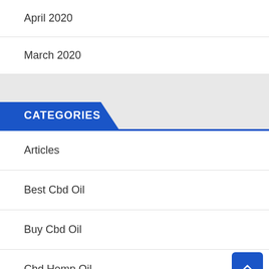April 2020
March 2020
CATEGORIES
Articles
Best Cbd Oil
Buy Cbd Oil
Cbd Hemp Oil